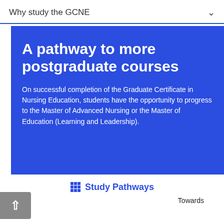Why study the GCNE
A pathway to more postgraduate courses
On successful completion of the Graduate Certificate in Nursing Education, students have the opportunity to progress to the Master of Advanced Nursing or the Master of Education (Learning and Leadership).
Study Pathways
Towards